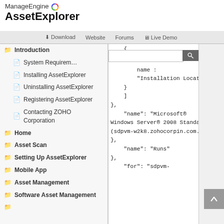ManageEngine AssetExplorer
Download  Website  Forums  Live Demo
Introduction
System Requirements
Installing AssetExplorer
Uninstalling AssetExplorer
Registering AssetExplorer
Contacting ZOHO Corporation
Home
Asset Scan
Setting Up AssetExplorer
Mobile App
Asset Management
Software Asset Management
{
    {
        name :
        "Installation Location"
    }
    ]
},
    "name": "Microsoft® Windows Server® 2008 Standard (sdpvm-w2k8.zohocorpin.com.)"
},
    "name": "Runs"
},
    "for": "sdpvm-